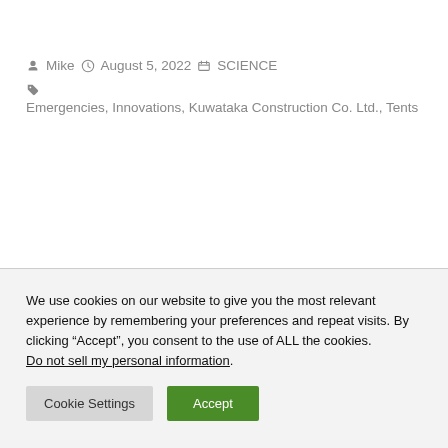Mike  August 5, 2022  SCIENCE
Emergencies, Innovations, Kuwataka Construction Co. Ltd., Tents
We use cookies on our website to give you the most relevant experience by remembering your preferences and repeat visits. By clicking “Accept”, you consent to the use of ALL the cookies. Do not sell my personal information.